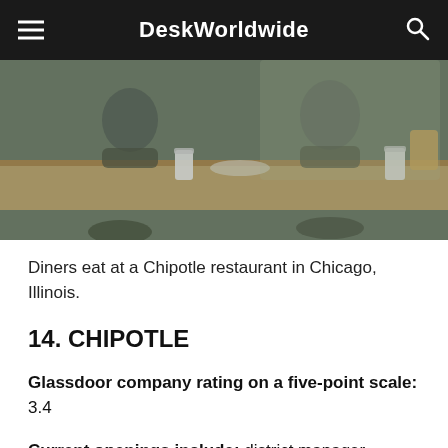DeskWorldwide
[Figure (photo): People dining at a Chipotle restaurant, visible through glass, eating at a counter with cups and food items on the surface.]
Diners eat at a Chipotle restaurant in Chicago, Illinois.
14. CHIPOTLE
Glassdoor company rating on a five-point scale: 3.4
Current openings include: district manager,